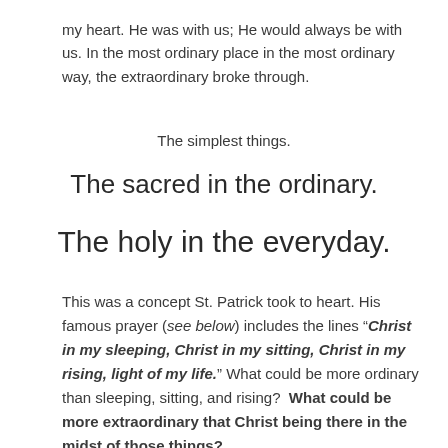my heart. He was with us; He would always be with us. In the most ordinary place in the most ordinary way, the extraordinary broke through.
The simplest things.
The sacred in the ordinary.
The holy in the everyday.
This was a concept St. Patrick took to heart. His famous prayer (see below) includes the lines “Christ in my sleeping, Christ in my sitting, Christ in my rising, light of my life.” What could be more ordinary than sleeping, sitting, and rising?  What could be more extraordinary that Christ being there in the midst of those things?